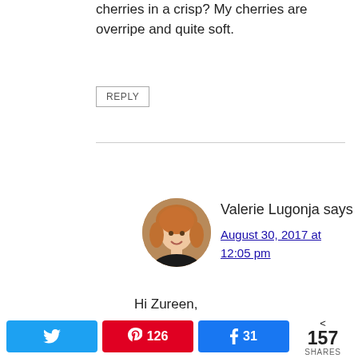cherries in a crisp? My cherries are overripe and quite soft.
REPLY
Valerie Lugonja says
August 30, 2017 at 12:05 pm
Hi Zureen,
I would just add more flour to the fresh berries in the crisp recipe to ensure the filling is not so runny. You can make either recipe with fresh or frozen berries, as a rule –
[Figure (photo): Profile photo of Valerie Lugonja, a woman with short blonde/reddish hair]
< 157 SHARES